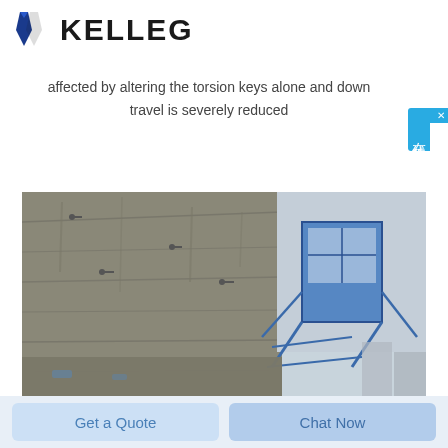KELLEG
affected by altering the torsion keys alone and down travel is severely reduced
[Figure (photo): A construction hoist / building elevator (blue metal structure) mounted against a rough stone or concrete retaining wall, viewed from ground level looking up. Buildings visible in background.]
Get a Quote   Chat Now